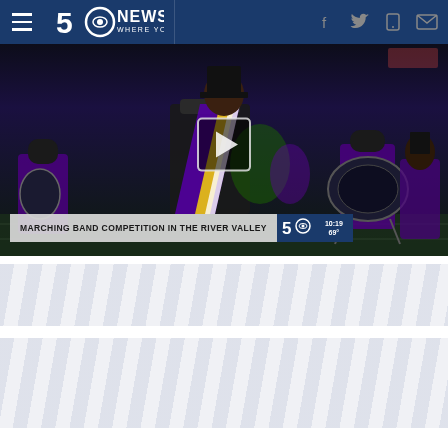5 NEWS WHERE YOU LIVE — Navigation bar with hamburger menu, logo, and social icons (Facebook, Twitter, mobile, email)
[Figure (screenshot): Video thumbnail of a marching band competition at night on a football field. Band members in purple and black uniforms with a play button overlay. Lower-third chyron reads: MARCHING BAND COMPETITION IN THE RIVER VALLEY with 5 News logo and timestamp 10:19 / 69°]
[Figure (other): Light gray diagonal-stripe placeholder content block, section 1]
[Figure (other): Light gray diagonal-stripe placeholder content block, section 2]